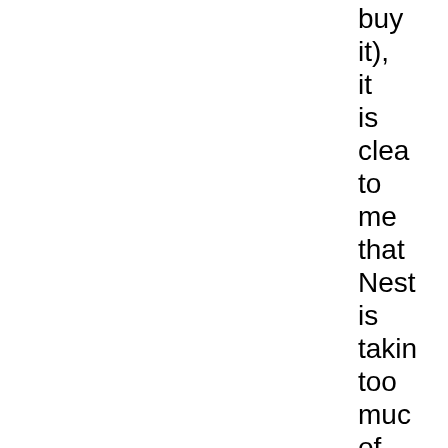buy it), it is clear to me that Nest is taking too much of Mich group in a